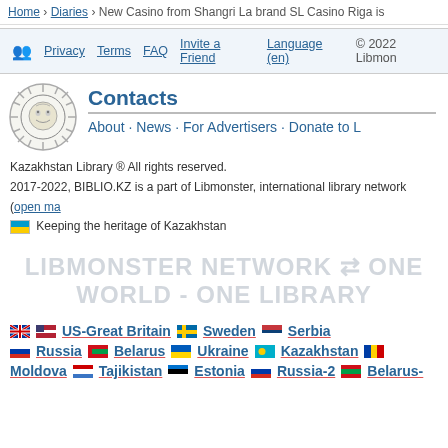Home › Diaries › New Casino from Shangri La brand SL Casino Riga is
Privacy  Terms  FAQ  Invite a Friend  Language (en)  © 2022 Libmon
Contacts
About · News · For Advertisers · Donate to L
Kazakhstan Library ® All rights reserved.
2017-2022, BIBLIO.KZ is a part of Libmonster, international library network (open ma
🇰🇿 Keeping the heritage of Kazakhstan
[Figure (illustration): Libmonster network watermark text: LIBMONSTER NETWORK ONE WORLD - ONE LIBRARY in light gray]
🇬🇧 🇺🇸 US-Great Britain  🇸🇪 Sweden  🇷🇸 Serbia
🇷🇺 Russia  🇧🇾 Belarus  🇺🇦 Ukraine  🇰🇿 Kazakhstan
Moldova  🇹🇯 Tajikistan  🇪🇪 Estonia  🇷🇺 Russia-2  🇧🇾 Belarus-